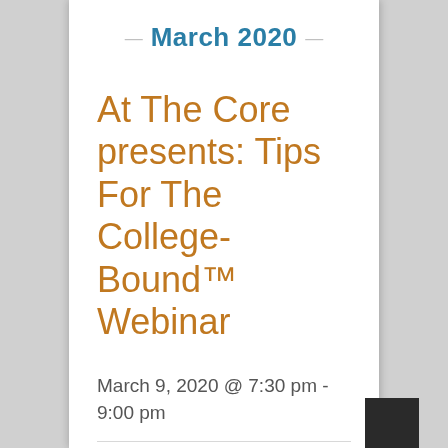— March 2020 —
At The Core presents: Tips For The College-Bound™ Webinar
March 9, 2020 @ 7:30 pm - 9:00 pm
Webinar